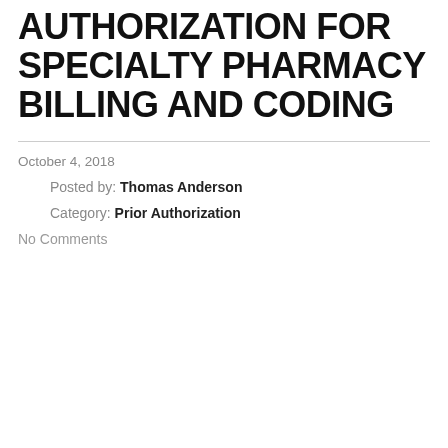AUTHORIZATION FOR SPECIALTY PHARMACY BILLING AND CODING
October 4, 2018
Posted by: Thomas Anderson
Category: Prior Authorization
No Comments